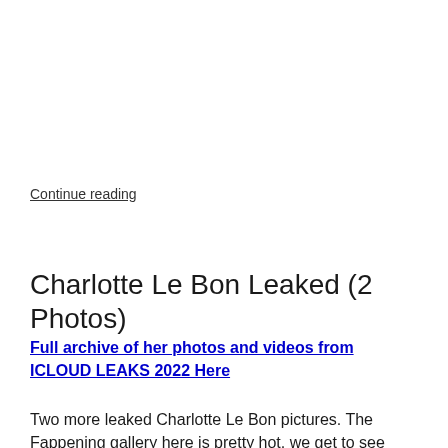Continue reading
Charlotte Le Bon Leaked (2 Photos)
Full archive of her photos and videos from ICLOUD LEAKS 2022 Here
Two more leaked Charlotte Le Bon pictures. The Fappening gallery here is pretty hot, we get to see Charlotte's beautiful booty and that's the only thing